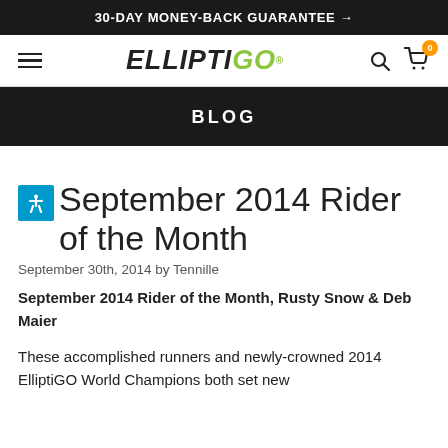30-DAY MONEY-BACK GUARANTEE →
[Figure (logo): ElliptiGO logo with navigation bar including hamburger menu, search icon, and cart icon with orange badge showing 0]
BLOG
September 2014 Rider of the Month
September 30th, 2014 by Tennille
September 2014 Rider of the Month, Rusty Snow & Deb Maier
These accomplished runners and newly-crowned 2014 ElliptiGO World Champions both set new